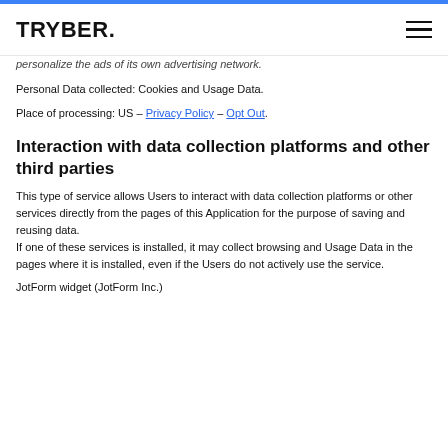TRYBER.
personalize the ads of its own advertising network.
Personal Data collected: Cookies and Usage Data.
Place of processing: US – Privacy Policy – Opt Out.
Interaction with data collection platforms and other third parties
This type of service allows Users to interact with data collection platforms or other services directly from the pages of this Application for the purpose of saving and reusing data. If one of these services is installed, it may collect browsing and Usage Data in the pages where it is installed, even if the Users do not actively use the service.
JotForm widget (JotForm Inc.)